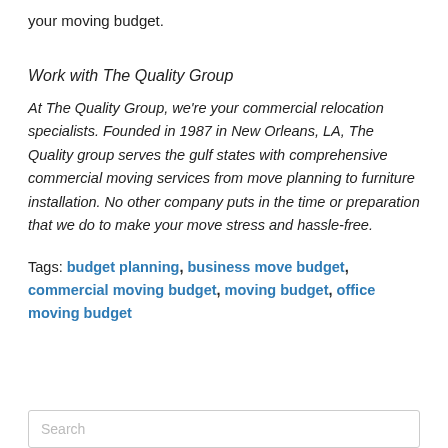your moving budget.
Work with The Quality Group
At The Quality Group, we're your commercial relocation specialists. Founded in 1987 in New Orleans, LA, The Quality group serves the gulf states with comprehensive commercial moving services from move planning to furniture installation. No other company puts in the time or preparation that we do to make your move stress and hassle-free.
Tags: budget planning, business move budget, commercial moving budget, moving budget, office moving budget